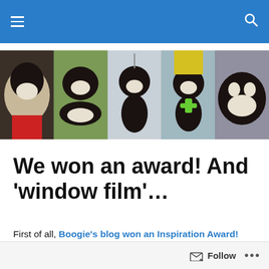Navigation bar with menu and search icons
[Figure (photo): A horizontal photo strip showing five images of Boston Terrier dogs in various outdoor settings.]
We won an award! And ‘window film’…
First of all, Boogie’s blog won an Inspiration Award! Thank you so much to Pamela of Something Waggin This Way Comes. I feel humbled by this award because I don’t consider myself a “good blogger”. I post infrequently, and I don’t follow many blogs (except the training/behavior ones
Follow ...